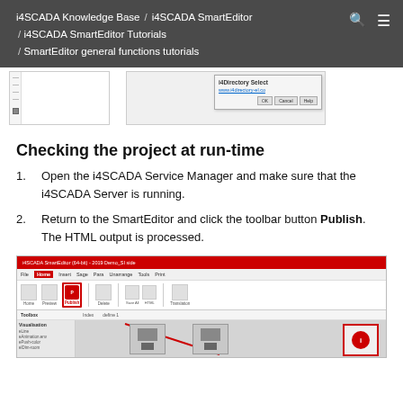i4SCADA Knowledge Base / i4SCADA SmartEditor / i4SCADA SmartEditor Tutorials / SmartEditor general functions tutorials
[Figure (screenshot): Two screenshots: left shows a ruler/toolbar area; right shows a dialog box with i4Directory Select, a URL link, and OK/Cancel/Help buttons]
Checking the project at run-time
Open the i4SCADA Service Manager and make sure that the i4SCADA Server is running.
Return to the SmartEditor and click the toolbar button Publish. The HTML output is processed.
[Figure (screenshot): Screenshot of i4SCADA SmartEditor application showing the ribbon toolbar with the Publish button highlighted, the toolbox panel on the left, and the canvas area with SCADA visualization components]